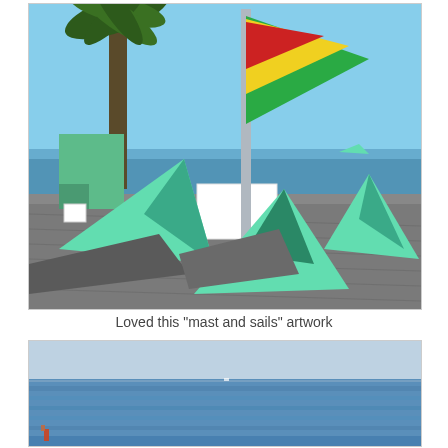[Figure (photo): Outdoor sculpture of mast and sails artwork made of metal triangular shapes painted mint green and teal, with a vertical pole topped by triangular sail shapes in green, yellow, and red. Palm trees and ocean visible in background under blue sky.]
Loved this "mast and sails" artwork
[Figure (photo): View of calm blue ocean/sea under a pale blue hazy sky, with very small figure visible at the left edge near the water.]